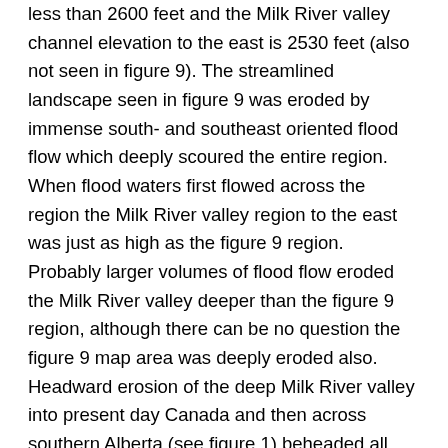less than 2600 feet and the Milk River valley channel elevation to the east is 2530 feet (also not seen in figure 9). The streamlined landscape seen in figure 9 was eroded by immense south- and southeast oriented flood flow which deeply scoured the entire region. When flood waters first flowed across the region the Milk River valley region to the east was just as high as the figure 9 region. Probably larger volumes of flood flow eroded the Milk River valley deeper than the figure 9 region, although there can be no question the figure 9 map area was deeply eroded also. Headward erosion of the deep Milk River valley into present day Canada and then across southern Alberta (see figure 1) beheaded all southeast- and south-oriented flood flow to the figure 9 map area. I am not sure of the origin of the small depressions east of Gildford. Some of the depressions appear as though they could be the result of flood scour and/or slumping of valley